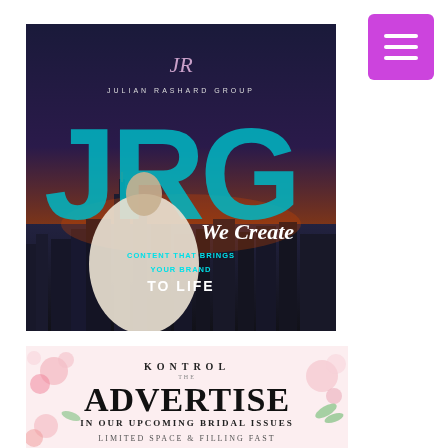[Figure (illustration): Julian Rashard Group promotional image: dark city skyline at night/dusk background with large teal JRG letters, a woman in a white bridal gown posing in front, with logo 'JR Julian Rashard Group' at top center, and text overlays reading 'We Create', 'CONTENT THAT BRINGS YOUR BRAND', 'TO LIFE']
[Figure (illustration): Kontrol magazine advertisement with floral/pink background: 'KONTROL magazine' at top, large bold 'ADVERTISE' text, 'IN OUR UPCOMING BRIDAL ISSUES', 'LIMITED SPACE & FILLING FAST']